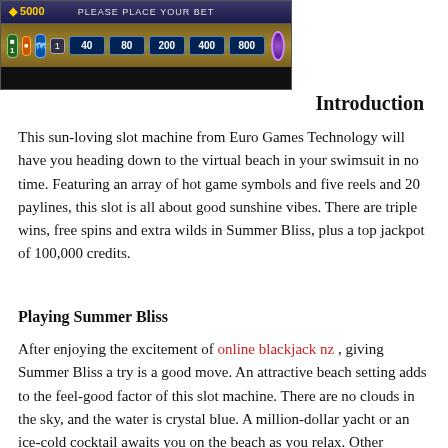[Figure (screenshot): Slot machine game interface showing credits of 5000, 'PLEASE PLACE YOUR BET' banner, and betting options of 40, 80, 200, 400, 800 on a dark background with golden bar]
Introduction
This sun-loving slot machine from Euro Games Technology will have you heading down to the virtual beach in your swimsuit in no time. Featuring an array of hot game symbols and five reels and 20 paylines, this slot is all about good sunshine vibes. There are triple wins, free spins and extra wilds in Summer Bliss, plus a top jackpot of 100,000 credits.
Playing Summer Bliss
After enjoying the excitement of online blackjack nz , giving Summer Bliss a try is a good move. An attractive beach setting adds to the feel-good factor of this slot machine. There are no clouds in the sky, and the water is crystal blue. A million-dollar yacht or an ice-cold cocktail awaits you on the beach as you relax. Other